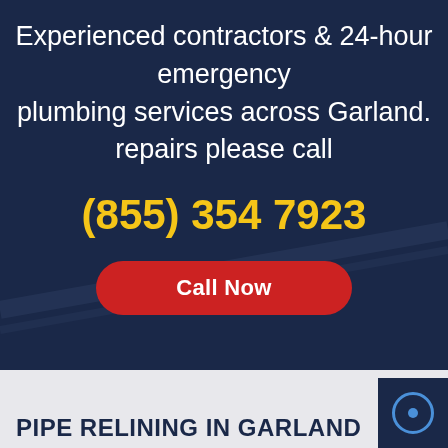Experienced contractors & 24-hour emergency plumbing services across Garland. repairs please call
(855) 354 7923
Call Now
PIPE RELINING IN GARLAND